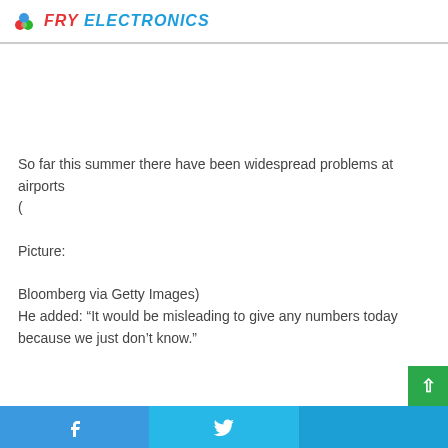FRY ELECTRONICS
So far this summer there have been widespread problems at airports
(

Picture:

Bloomberg via Getty Images)
He added: “It would be misleading to give any numbers today because we just don’t know.”
Facebook | Twitter